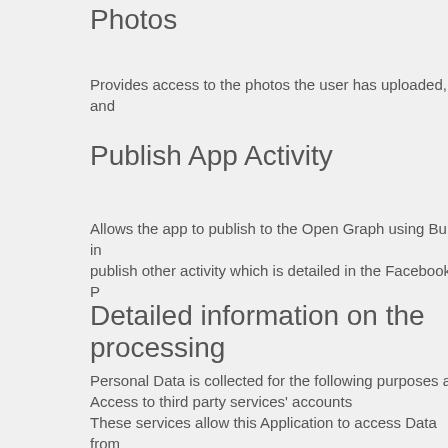Photos
Provides access to the photos the user has uploaded, and
Publish App Activity
Allows the app to publish to the Open Graph using Built-in publish other activity which is detailed in the Facebook's P
Detailed information on the processing
Personal Data is collected for the following purposes and services allow this Application to access Data from These services are not activated automatically, but require Access to the Facebook account (This Application) This service allows this Application to connect with the Us Inc. Permissions asked: Checkins, Email, Likes, Photos a
Access to third party services' accounts